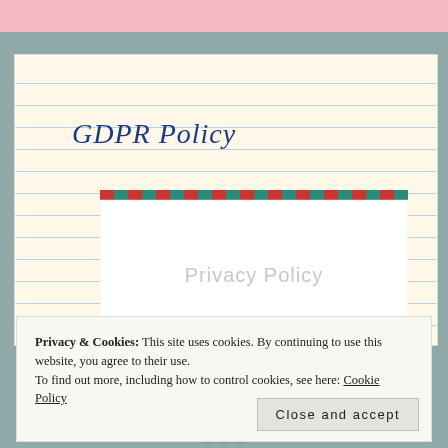GDPR Policy
[Figure (illustration): An envelope with airmail (red and teal diagonal stripe) border at the top, white body with light grey 'Privacy Policy' placeholder text centered inside]
Privacy & Cookies: This site uses cookies. By continuing to use this website, you agree to their use.
To find out more, including how to control cookies, see here: Cookie Policy
Close and accept